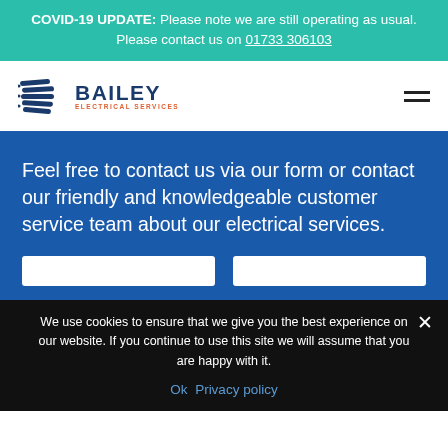COVID-19 UPDATE: Please note we are still operating as usual. Please contact us on 01733 306103
[Figure (logo): Bailey Electrical Services logo — stylized blue B with horizontal lines, text BAILEY in dark blue bold, ELECTRICAL SERVICES in orange small caps]
Feel free to contact us via our form or contact our friendly and knowledgeable customer service team about our electrical services.
We use cookies to ensure that we give you the best experience on our website. If you continue to use this site we will assume that you are happy with it.
Ok  Privacy policy